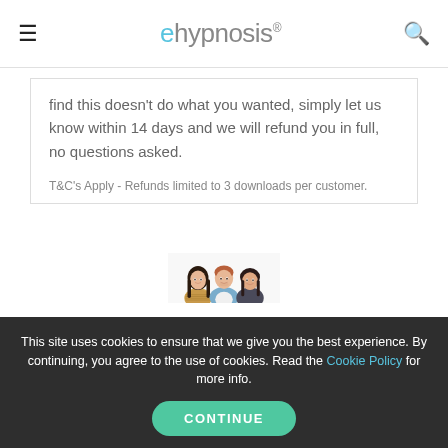ehypnosis®
find this doesn't do what you wanted, simply let us know within 14 days and we will refund you in full, no questions asked.
T&C's Apply - Refunds limited to 3 downloads per customer.
[Figure (photo): Three smiling people (two women and one man) posed together against a white background. Left: woman with long dark hair wearing a striped top. Center: man with short auburn hair wearing a light blue button-up shirt. Right: woman with shoulder-length dark hair wearing a dark cardigan.]
This site uses cookies to ensure that we give you the best experience. By continuing, you agree to the use of cookies. Read the Cookie Policy for more info.